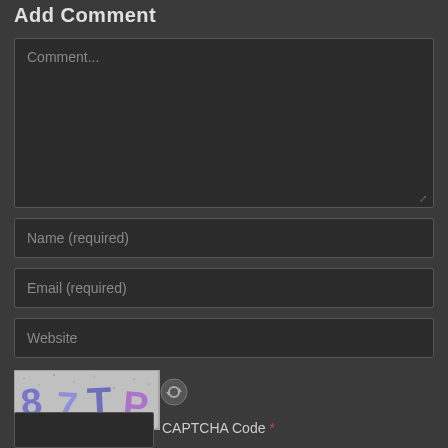Add Comment
Comment...
Name (required)
Email (required)
Website
[Figure (other): CAPTCHA image showing characters '87TP' on a textured gray background with blue/purple stylized lettering]
[Figure (other): Refresh/reload icon button next to CAPTCHA image]
CAPTCHA Code *